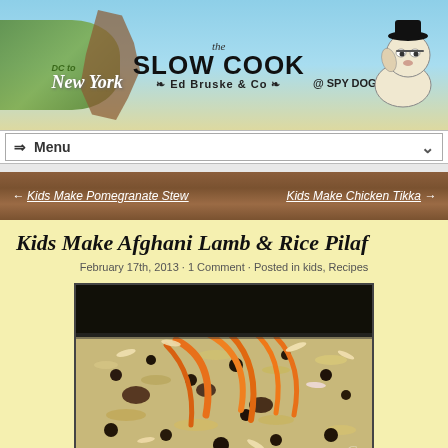DC to New York · the SLOW COOK @ SPY DOG FARM · Ed Bruske & Co
⇒ Menu
← Kids Make Pomegranate Stew   Kids Make Chicken Tikka →
Kids Make Afghani Lamb & Rice Pilaf
February 17th, 2013 · 1 Comment · Posted in kids, Recipes
[Figure (photo): A dark pan filled with Afghani lamb and rice pilaf, topped with orange carrot strips, raisins, and sliced almonds]